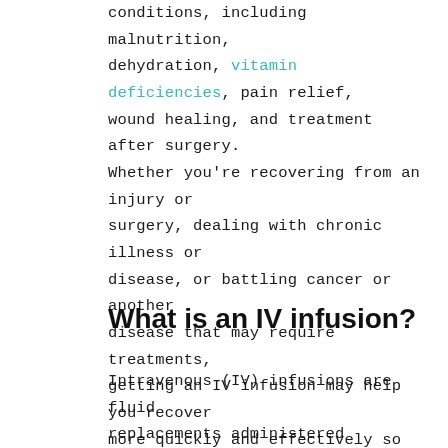conditions, including malnutrition, dehydration, vitamin deficiencies, pain relief, wound healing, and treatment after surgery. Whether you're recovering from an injury or surgery, dealing with chronic illness or disease, or battling cancer or another disease that may require treatments, getting an IV infusion may help you recover more quickly and effectively so you can get back to your daily life quickly!
What is an IV infusion?
Intravenous (IV) infusions are fluid replacements administered directly into your vein via a needle. If you suffer from